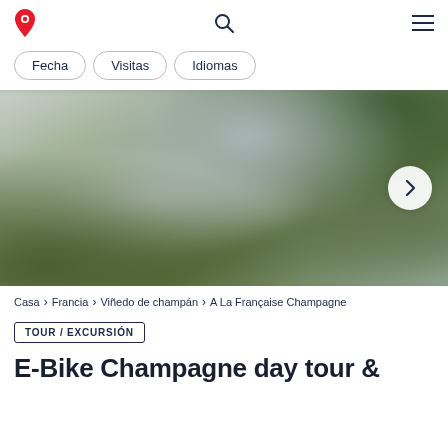Logo | Search | Menu
Fecha
Visitas
Idiomas
[Figure (photo): Blurred outdoor landscape photo showing vineyards or countryside with green and grey tones, used as hero/banner image. A white circular next arrow button is visible on the right.]
Casa › Francia › Viñedo de champán › A La Française Champagne
TOUR / EXCURSIÓN
E-Bike Champagne day tour &